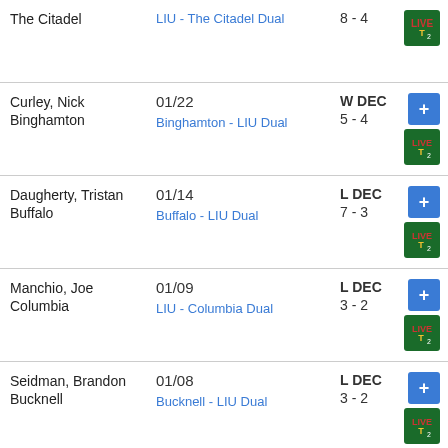| Opponent | Event/Date | Result | Icons |
| --- | --- | --- | --- |
| The Citadel | LIU - The Citadel Dual | 8 - 4 | TV2 |
| Curley, Nick / Binghamton | 01/22 / Binghamton - LIU Dual | W DEC / 5 - 4 | + TV2 |
| Daugherty, Tristan / Buffalo | 01/14 / Buffalo - LIU Dual | L DEC / 7 - 3 | + TV2 |
| Manchio, Joe / Columbia | 01/09 / LIU - Columbia Dual | L DEC / 3 - 2 | + TV2 |
| Seidman, Brandon / Bucknell | 01/08 / Bucknell - LIU Dual | L DEC / 3 - 2 | + TV2 |
| Garber, Bronson / Bloomsburg | 12/15 / Bloomsburg - LIU Dual | L DEC / 6 - 5 | + TV2 |
|  | 12/05 | W MR | + TV2 |